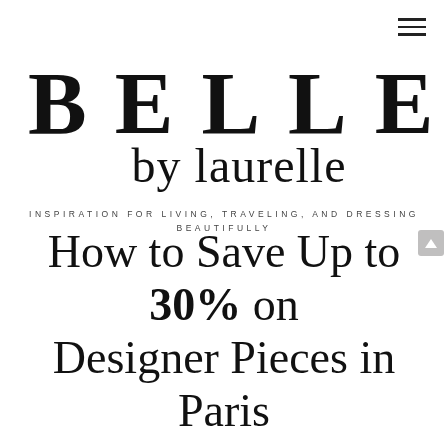[Figure (logo): BELLE by laurelle logo with tagline: INSPIRATION FOR LIVING, TRAVELING, AND DRESSING BEAUTIFULLY]
How to Save Up to 30% on Designer Pieces in Paris